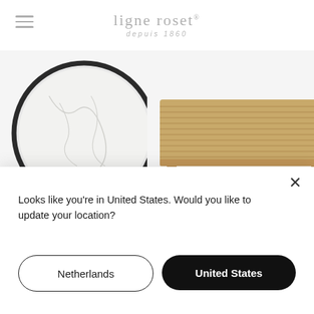[Figure (logo): Ligne Roset brand logo with text 'ligne roset' and 'depuis 1860' underneath]
[Figure (photo): Two furniture tables shown: a round marble-top side table with dark metal legs on the left, and a slatted wooden low coffee table on the right, with partial view of more furniture at the bottom]
Looks like you're in United States. Would you like to update your location?
Netherlands
United States